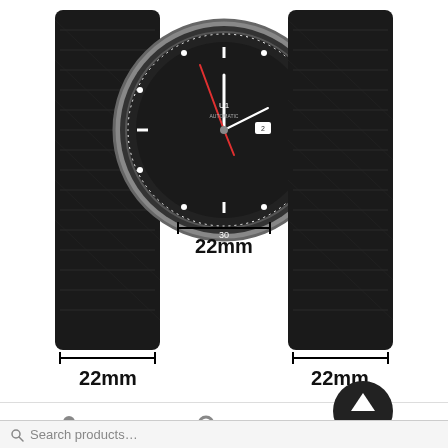[Figure (photo): Watch with leather strap showing 22mm measurement indicators at lug width and strap width, with 'ShareMe' watermark overlay]
The above is an example of a 22mm strap/lug width.
Category: Uncategorized
Posted on May 18, 2019 by Aretefirst — 1 Comment
Types of Leather Finishes